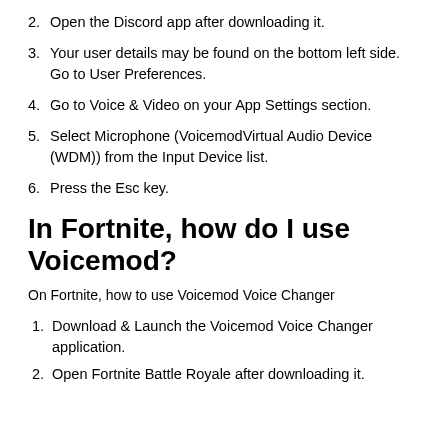2. Open the Discord app after downloading it.
3. Your user details may be found on the bottom left side. Go to User Preferences.
4. Go to Voice & Video on your App Settings section.
5. Select Microphone (VoicemodVirtual Audio Device (WDM)) from the Input Device list.
6. Press the Esc key.
In Fortnite, how do I use Voicemod?
On Fortnite, how to use Voicemod Voice Changer
1. Download & Launch the Voicemod Voice Changer application.
2. Open Fortnite Battle Royale after downloading it.